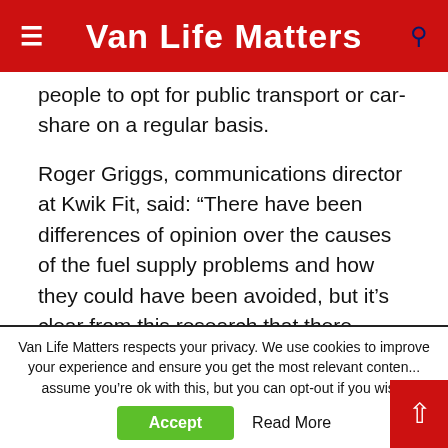Van Life Matters
people to opt for public transport or car-share on a regular basis.
Roger Griggs, communications director at Kwik Fit, said: “There have been differences of opinion over the causes of the fuel supply problems and how they could have been avoided, but it’s clear from this research that there needs to be a robust plan for the longer term.
“With half of all drivers being impacted by local
Van Life Matters respects your privacy. We use cookies to improve your experience and ensure you get the most relevant content. We assume you’re ok with this, but you can opt-out if you wish.